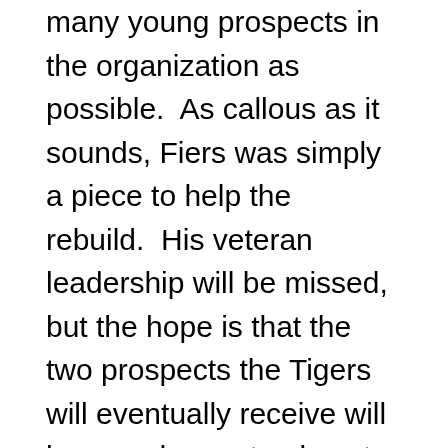many young prospects in the organization as possible.  As callous as it sounds, Fiers was simply a piece to help the rebuild.  His veteran leadership will be missed, but the hope is that the two prospects the Tigers will eventually receive will have a chance to play at the major league level one day.
While Fiers came to compete every single day, it was evident that the Tigers could not hang in the race, especially after an 11-game losing streak in June.  Veterans like Leonys Martin, Francisco Liriano, and Fiers became prime targets for teams looking for